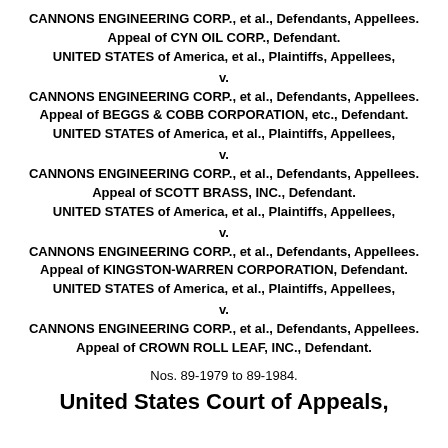CANNONS ENGINEERING CORP., et al., Defendants, Appellees. Appeal of CYN OIL CORP., Defendant. UNITED STATES of America, et al., Plaintiffs, Appellees, v. CANNONS ENGINEERING CORP., et al., Defendants, Appellees. Appeal of BEGGS & COBB CORPORATION, etc., Defendant. UNITED STATES of America, et al., Plaintiffs, Appellees, v. CANNONS ENGINEERING CORP., et al., Defendants, Appellees. Appeal of SCOTT BRASS, INC., Defendant. UNITED STATES of America, et al., Plaintiffs, Appellees, v. CANNONS ENGINEERING CORP., et al., Defendants, Appellees. Appeal of KINGSTON-WARREN CORPORATION, Defendant. UNITED STATES of America, et al., Plaintiffs, Appellees, v. CANNONS ENGINEERING CORP., et al., Defendants, Appellees. Appeal of CROWN ROLL LEAF, INC., Defendant.
Nos. 89-1979 to 89-1984.
United States Court of Appeals,